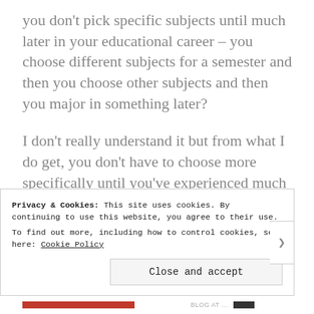you don't pick specific subjects until much later in your educational career – you choose different subjects for a semester and then you choose other subjects and then you major in something later?
I don't really understand it but from what I do get, you don't have to choose more specifically until you've experienced much more than I've had the chance to.
Rant over. School is horrible. The future is really not as imminent as they have to believe it is
Privacy & Cookies: This site uses cookies. By continuing to use this website, you agree to their use.
To find out more, including how to control cookies, see here: Cookie Policy
Close and accept